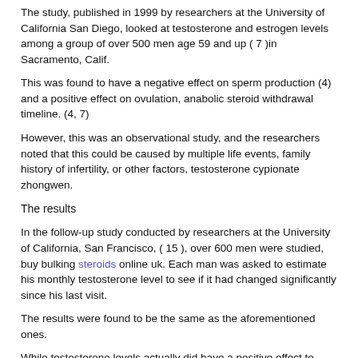The study, published in 1999 by researchers at the University of California San Diego, looked at testosterone and estrogen levels among a group of over 500 men age 59 and up ( 7 )in Sacramento, Calif.
This was found to have a negative effect on sperm production (4) and a positive effect on ovulation, anabolic steroid withdrawal timeline. (4, 7)
However, this was an observational study, and the researchers noted that this could be caused by multiple life events, family history of infertility, or other factors, testosterone cypionate zhongwen.
The results
In the follow-up study conducted by researchers at the University of California, San Francisco, ( 15 ), over 600 men were studied, buy bulking steroids online uk. Each man was asked to estimate his monthly testosterone level to see if it had changed significantly since his last visit.
The results were found to be the same as the aforementioned ones.
While testosterone levels actually did have a positive effect to sperm production, there were no positive effects on women's ovulation (7), testosterone levels by age chart nmol/l.
Interestingly, there was not a difference between the mean testosterone level and the men's average testosterone.
Conclusion